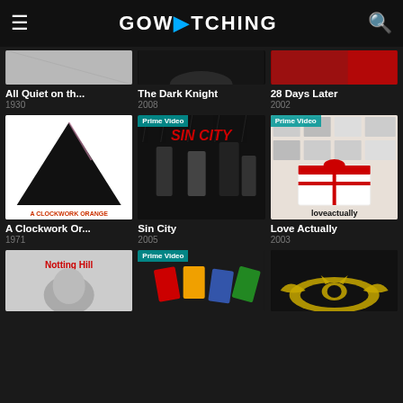GOWATCHING
[Figure (screenshot): Movie grid interface for GoWatching app showing movie posters in 3-column layout]
All Quiet on th...
1930
The Dark Knight
2008
28 Days Later
2002
A Clockwork Or...
1971
Sin City
2005
Love Actually
2003
Notting Hill
Prime Video
Prime Video